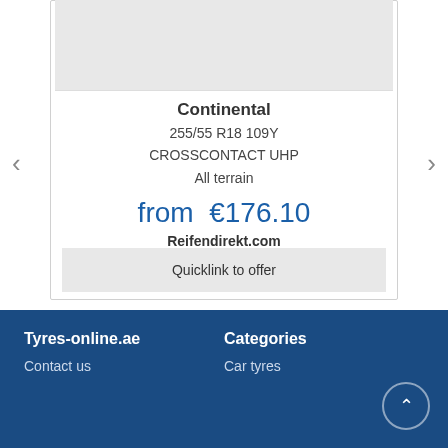[Figure (photo): Gray placeholder image area for a tyre product photo]
Continental
255/55 R18 109Y
CROSSCONTACT UHP
All terrain
from €176.10
Reifendirekt.com
Quicklink to offer
Tyres-online.ae
Contact us
Categories
Car tyres